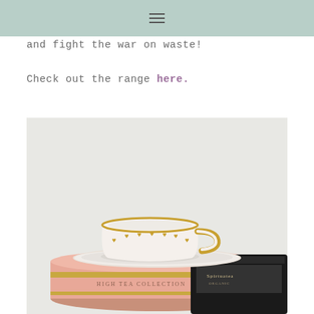≡
and fight the war on waste!
Check out the range here.
[Figure (photo): A white porcelain teacup with gold heart pattern and gold rim and handle, sitting on a white saucer, placed on top of a pink cylindrical tin labeled 'HIGH TEA COLLECTION' with a gold band, alongside a black tin labeled 'Spiriuatea ORGANIC']